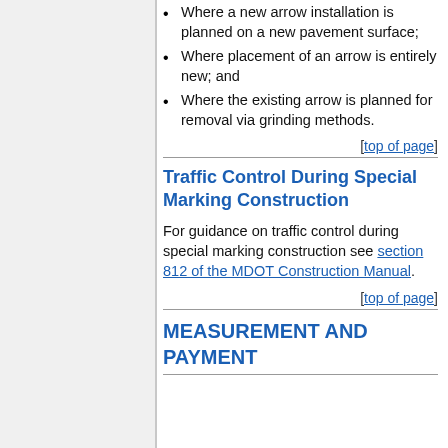Where a new arrow installation is planned on a new pavement surface;
Where placement of an arrow is entirely new; and
Where the existing arrow is planned for removal via grinding methods.
[top of page]
Traffic Control During Special Marking Construction
For guidance on traffic control during special marking construction see section 812 of the MDOT Construction Manual.
[top of page]
MEASUREMENT AND PAYMENT